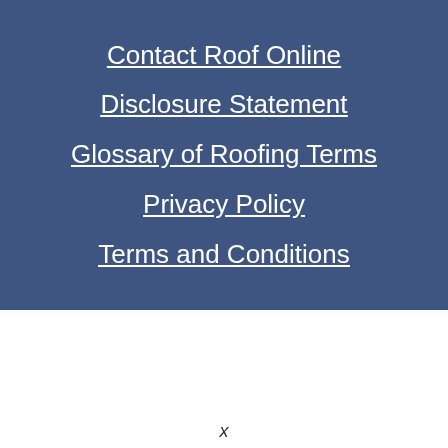Contact Roof Online
Disclosure Statement
Glossary of Roofing Terms
Privacy Policy
Terms and Conditions
x